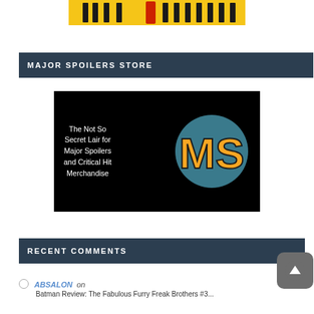[Figure (illustration): Top banner image showing cartoon/comic character silhouettes on a yellow background]
MAJOR SPOILERS STORE
[Figure (logo): Major Spoilers store advertisement. Black background with white text: 'The Not So Secret Lair for Major Spoilers and Critical Hit Merchandise'. Teal circle with orange MS logo letters on the right.]
RECENT COMMENTS
ABSALON on